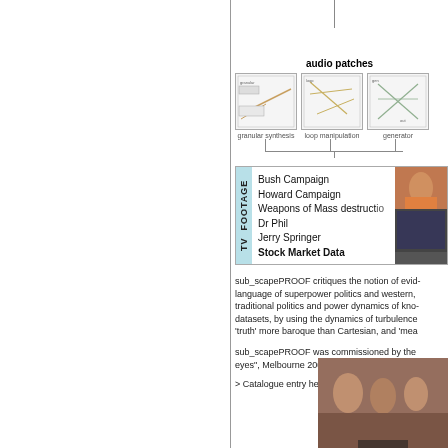[Figure (schematic): Audio patches diagram showing three patch boxes labeled granular synthesis, loop manipulation, generator with connecting lines above]
granular synthesis    loop manipulation    generator
[Figure (illustration): TV FOOTAGE block with list: Bush Campaign, Howard Campaign, Weapons of Mass destruction, Dr Phil, Jerry Springer, Stock Market Data, with TV screenshot thumbnails]
sub_scapePROOF critiques the notion of evid- language of superpower politics and western, traditional politics and power dynamics of kno- datasets, by using the dynamics of turbulence 'truth' more baroque than Cartesian, and 'mea
sub_scapePROOF was commissioned by the eyes", Melbourne 2004 – 2005. A single chan-
> Catalogue entry here
[Figure (photo): Bottom photo showing group of people, reddish/brownish tones]